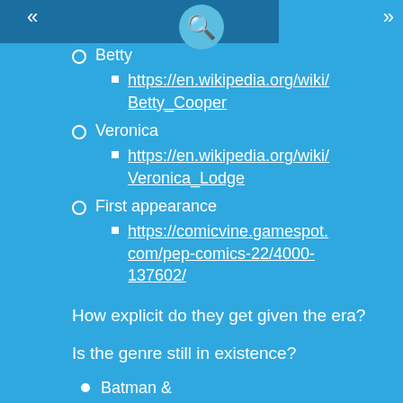Betty
https://en.wikipedia.org/wiki/Betty_Cooper
Veronica
https://en.wikipedia.org/wiki/Veronica_Lodge
First appearance
https://comicvine.gamespot.com/pep-comics-22/4000-137602/
How explicit do they get given the era?
Is the genre still in existence?
Batman &
http://dc.wikia.com/wiki/Batman%27s_Love_Interests
Catwoman
https://www.cbr.com/batman-